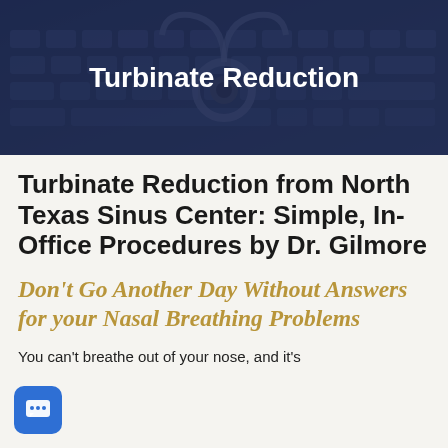[Figure (photo): Dark blue-toned background image of a laptop keyboard with a stethoscope resting on it, overlaid with a dark navy tint]
Turbinate Reduction
Turbinate Reduction from North Texas Sinus Center: Simple, In-Office Procedures by Dr. Gilmore
Don't Go Another Day Without Answers for your Nasal Breathing Problems
You can't breathe out of your nose, and it's